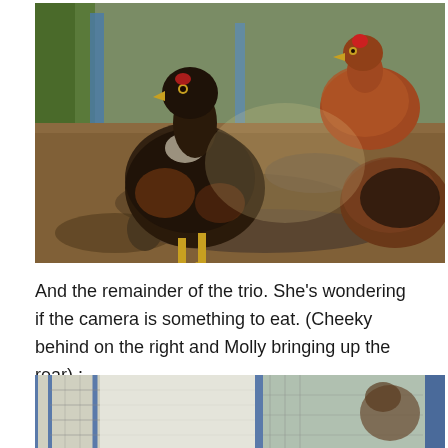[Figure (photo): Outdoor chicken coop with three chickens. A large dark brown/black hen stands prominently in the center-left, facing the camera. A reddish-brown hen (Cheeky) stands in the upper right background. Another hen (Molly) is visible at lower right. Ground is covered with wood chips/mulch and there is a log in the foreground. Blue structures and vegetation visible in the background.]
And the remainder of the trio. She's wondering if the camera is something to eat. (Cheeky behind on the right and Molly bringing up the rear) :
[Figure (photo): Partial view of what appears to be an animal enclosure or cage with wire mesh, blue framing, and some animals visible inside.]